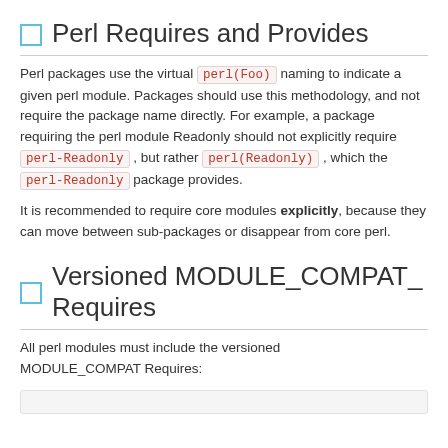Perl Requires and Provides
Perl packages use the virtual perl(Foo) naming to indicate a given perl module. Packages should use this methodology, and not require the package name directly. For example, a package requiring the perl module Readonly should not explicitly require perl-Readonly , but rather perl(Readonly) , which the perl-Readonly package provides.
It is recommended to require core modules explicitly, because they can move between sub-packages or disappear from core perl.
Versioned MODULE_COMPAT_ Requires
All perl modules must include the versioned MODULE_COMPAT Requires: